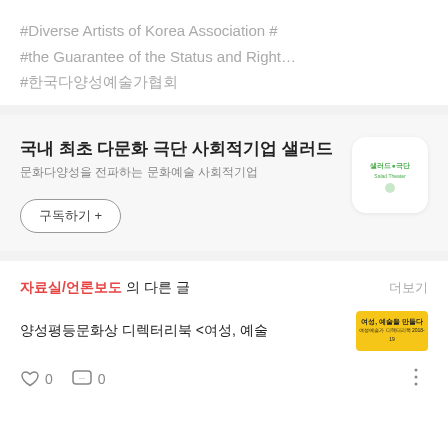#Diverse Artists of Korea Association #
#the Guarantee of the Status and Right…
#한국다양성예술가협회
국내 최초 다문화 극단 사회적기업 샐러드
문화다양성을 전파하는 문화예술 사회적기업
구독하기 +
[Figure (logo): 샐러드국단 logo - green text on white rounded square]
자료실/언론보도 의 다른 글
더보기
양성평등문화상 디렉터리북 <여성, 예술
[Figure (illustration): Yellow thumbnail image with Korean text '여성, 예술을 만들다']
0  ···  0